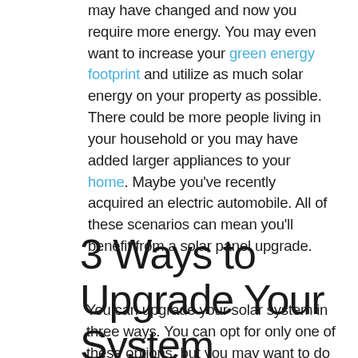may have changed and now you require more energy. You may even want to increase your green energy footprint and utilize as much solar energy on your property as possible. There could be more people living in your household or you may have added larger appliances to your home. Maybe you've recently acquired an electric automobile. All of these scenarios can mean you'll benefit from a solar panel upgrade.
3 Ways to Upgrade Your System
You can upgrade your solar system in three ways. You can opt for only one of these options, but you may want to do all three based on the condition and age of your present